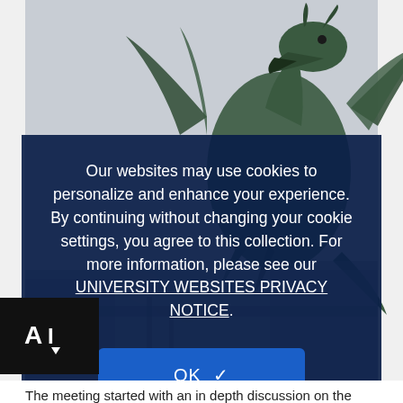[Figure (photo): Photo of a green dragon statue with wings spread, photographed against a grey sky, with round lamp posts visible to the lower left. This is the Ljubljana Dragon Bridge dragon statue.]
Our websites may use cookies to personalize and enhance your experience. By continuing without changing your cookie settings, you agree to this collection. For more information, please see our UNIVERSITY WEBSITES PRIVACY NOTICE.
[Figure (other): OK button with checkmark icon, blue rounded rectangle button]
The meeting started with an in depth discussion on the